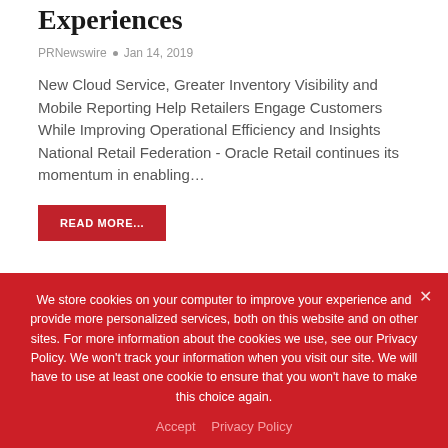Experiences
PRNewswire  •  Jan 14, 2019
New Cloud Service, Greater Inventory Visibility and Mobile Reporting Help Retailers Engage Customers While Improving Operational Efficiency and Insights National Retail Federation - Oracle Retail continues its momentum in enabling…
READ MORE...
NATIVE & PROGRAMMAT...
We store cookies on your computer to improve your experience and provide more personalized services, both on this website and on other sites. For more information about the cookies we use, see our Privacy Policy. We won't track your information when you visit our site. We will have to use at least one cookie to ensure that you won't have to make this choice again.
Accept   Privacy Policy